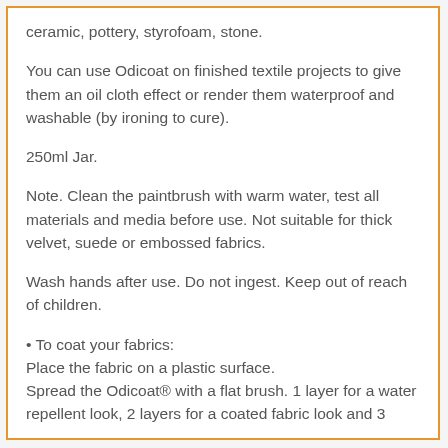ceramic, pottery, styrofoam, stone.
You can use Odicoat on finished textile projects to give them an oil cloth effect or render them waterproof and washable (by ironing to cure).
250ml Jar.
Note. Clean the paintbrush with warm water, test all materials and media before use. Not suitable for thick velvet, suede or embossed fabrics.
Wash hands after use. Do not ingest. Keep out of reach of children.
• To coat your fabrics:
Place the fabric on a plastic surface.
Spread the Odicoat® with a flat brush. 1 layer for a water repellent look, 2 layers for a coated fabric look and 3